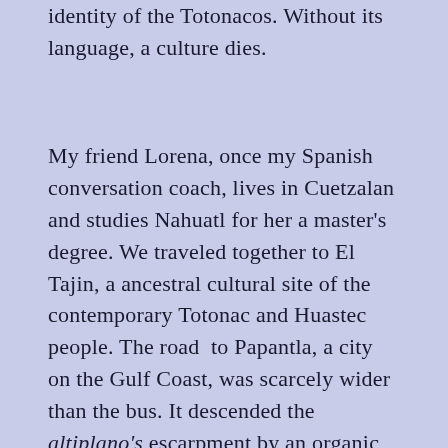identity of the Totonacos. Without its language, a culture dies.
My friend Lorena, once my Spanish conversation coach, lives in Cuetzalan and studies Nahuatl for her a master's degree. We traveled together to El Tajin, a ancestral cultural site of the contemporary Totonac and Huastec people. The road  to Papantla, a city on the Gulf Coast, was scarcely wider than the bus. It descended the altiplano's escarpment by an organic route of broken asphalt and gravel, through jungle thickets, lime groves, and banana plantations. We rolled along a placid river rosy with the reflections of dawn .